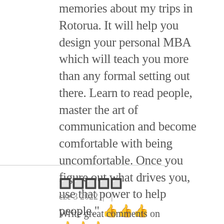memories about my trips in Rotorua. It will help you design your personal MBA which will teach you more than any formal setting out there. Learn to read people, master the art of communication and become comfortable with being uncomfortable. Once you figure out what drives you, use that power to help people." 👍👍👍
🔲🔲🔲🔲🔲
cze 3 2022  |   |
Write great comments on